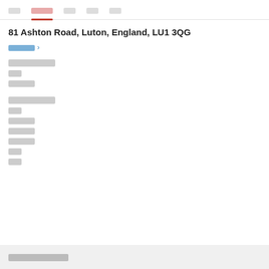[nav bar with redacted items and active tab]
81 Ashton Road, Luton, England, LU1 3QG
[breadcrumb link with arrow]
[redacted section label - 7 chars]
[redacted - 2 chars]
[redacted - 4 chars]
[redacted section label - 7 chars]
[redacted - 2 chars]
[redacted - 4 chars]
[redacted - 4 chars]
[redacted - 4 chars]
[redacted - 2 chars]
[redacted - 2 chars]
[redacted footer - 8 chars]